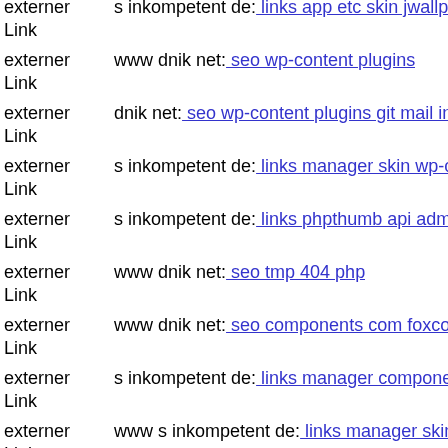externer Link  s inkompetent de: links app etc skin jwallpapers files pluplo...
externer Link  www dnik net: seo wp-content plugins
externer Link  dnik net: seo wp-content plugins git mail inkompetent de
externer Link  s inkompetent de: links manager skin wp-content plugins w...
externer Link  s inkompetent de: links phpthumb api admin wp-content plu...
externer Link  www dnik net: seo tmp 404 php
externer Link  www dnik net: seo components com foxcontact wp-content...
externer Link  s inkompetent de: links manager components com foxconta...
externer Link  www s inkompetent de: links manager skin wp-content plu...
externer Link  s inkompetent de: links phpthumb wp-content themes pinbo...
externer Link  www dnik net: seo media system js imagesfh
externer Link  dnik net: seo js webforms upload readme php